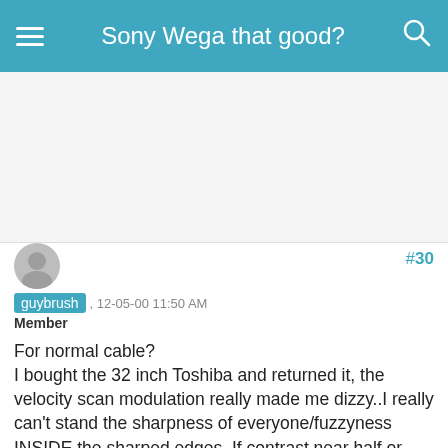Sony Wega that good?
[Figure (other): Advertisement banner area (gray background)]
#30
guybrush , 12-05-00 11:50 AM
Member

For normal cable?
I bought the 32 inch Toshiba and returned it, the velocity scan modulation really made me dizzy..I really can't stand the sharpness of everyone/fuzzyness INSIDE the sharped edges. If contrast near half or past it, I had a lot of noise in the picture. I had gotten a "clean smooth" picture by lowering the sharpness, but then it wasn't very sharp...The WEGAs I saw again about 5-7 feet away didn't look very good - from far away looked great. I guess I will opt for a nice 27 inch set or 25...any advice? I mainly just watch